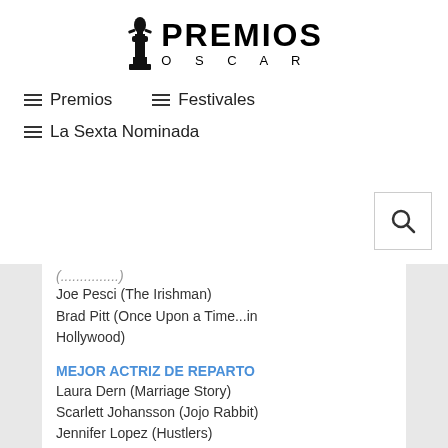[Figure (logo): Premios Oscar logo with Oscar statue silhouette and text PREMIOS OSCAR]
≡ Premios   ≡ Festivales
≡ La Sexta Nominada
Joe Pesci (The Irishman)
Brad Pitt (Once Upon a Time...in Hollywood)
MEJOR ACTRIZ DE REPARTO
Laura Dern (Marriage Story)
Scarlett Johansson (Jojo Rabbit)
Jennifer Lopez (Hustlers)
Florence Pugh (Little Women)
Zhao Shuzhen (The Farewell)